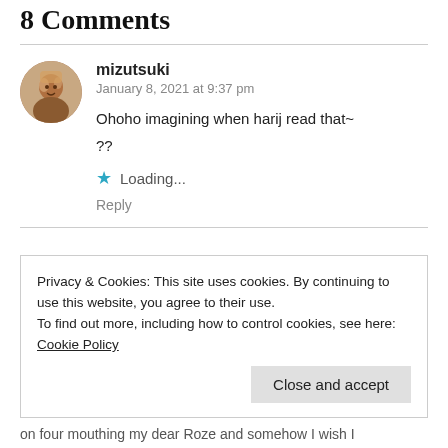8 Comments
mizutsuki
January 8, 2021 at 9:37 pm
Ohoho imagining when harij read that~
??
Loading...
Reply
Privacy & Cookies: This site uses cookies. By continuing to use this website, you agree to their use.
To find out more, including how to control cookies, see here: Cookie Policy
Close and accept
on four mouthing my dear Roze and somehow I wish I